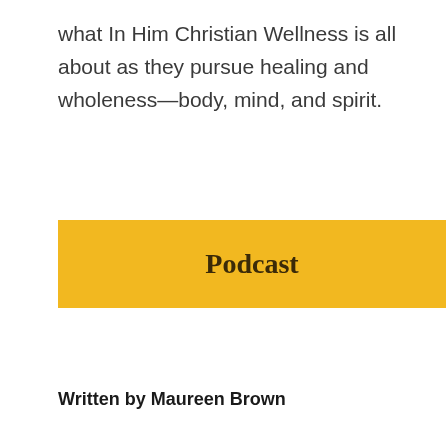what In Him Christian Wellness is all about as they pursue healing and wholeness—body, mind, and spirit.
[Figure (other): Yellow/gold rectangular button with the word 'Podcast' in bold dark serif text]
Written by Maureen Brown